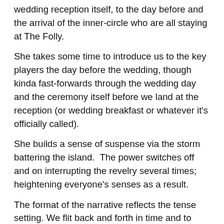wedding reception itself, to the day before and the arrival of the inner-circle who are all staying at The Folly.
She takes some time to introduce us to the key players the day before the wedding, though kinda fast-forwards through the wedding day and the ceremony itself before we land at the reception (or wedding breakfast or whatever it's officially called).
She builds a sense of suspense via the storm battering the island.  The power switches off and on interrupting the revelry several times; heightening everyone's senses as a result.
The format of the narrative reflects the tense setting. We flit back and forth in time and to several of our storytellers. Abruptly but deftly.
Foley holds off on letting us in on a number of secrets until the very end, including the identity of the victim. It's twisty most certainly and happily there's a sense of